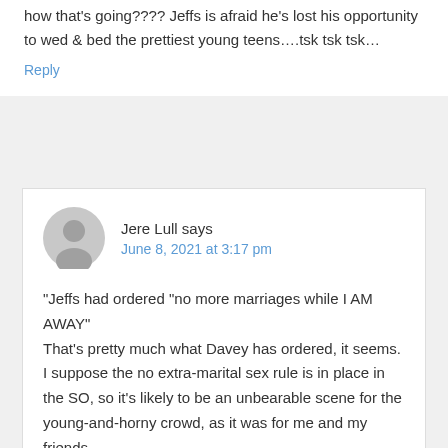how that's going???? Jeffs is afraid he's lost his opportunity to wed & bed the prettiest young teens….tsk tsk tsk…
Reply
Jere Lull says
June 8, 2021 at 3:17 pm
“Jeffs had ordered “no more marriages while I AM AWAY” That’s pretty much what Davey has ordered, it seems. I suppose the no extra-marital sex rule is in place in the SO, so it’s likely to be an unbearable scene for the young-and-horny crowd, as it was for me and my friends.